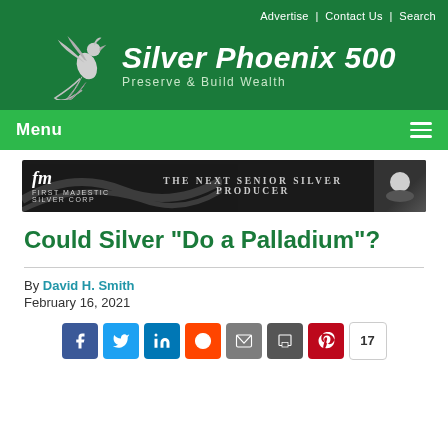Advertise | Contact Us | Search
[Figure (logo): Silver Phoenix 500 logo with phoenix bird, tagline: Preserve & Build Wealth]
Menu
[Figure (other): First Majestic Silver Corp banner ad: THE NEXT SENIOR SILVER PRODUCER]
Could Silver "Do a Palladium"?
By David H. Smith
February 16, 2021